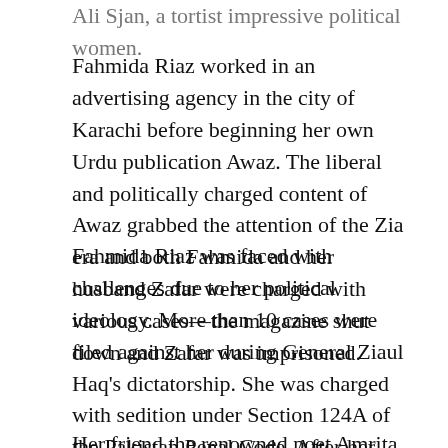Ali Sjan, a tortist impressive political women.
Fahmida Riaz worked in an advertising agency in the city of Karachi before beginning her own Urdu publication Awaz. The liberal and politically charged content of Awaz grabbed the attention of the Zia era and both Fahmida and her husband Zafar were charged with various cases—the magazine shut down and Zafar was imprisoned.
Fahmida Riaz was faced with challenges due to her political ideology. More than 10 cases were filed against her during General Ziaul Haq's dictatorship. She was charged with sedition under Section 124A of the Pakistan Penal Code. After her husband was arrested she was bailed out by a fan of her works before she could be taken to jail and fled to India with her two small children and sister on the excuse of a Mushaira invitation.
Her friend the renowned poet Amrita Pritam who spoke